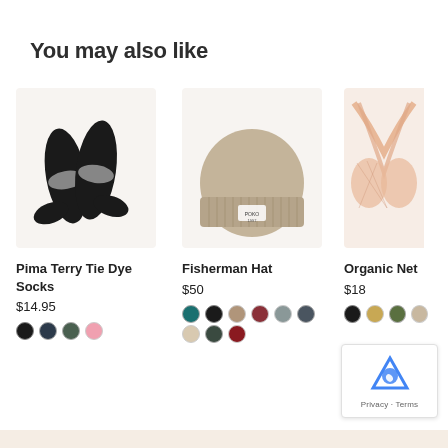You may also like
[Figure (photo): Black tie-dye socks on a beige background]
Pima Terry Tie Dye Socks
$14.95
[Figure (photo): Beige fisherman knit beanie hat with small label patch]
Fisherman Hat
$50
[Figure (photo): Partially visible peach/nude organic net bra]
Organic Net
$18